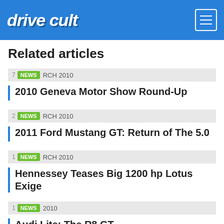drive cult
Related articles
7 NEWS RCH 2010 — 2010 Geneva Motor Show Round-Up
2 NEWS RCH 2010 — 2011 Ford Mustang GT: Return of The 5.0
1 NEWS RCH 2010 — Hennessey Teases Big 1200 hp Lotus Exige
1 NEWS 2010 — Audi Lite: The R8 GT